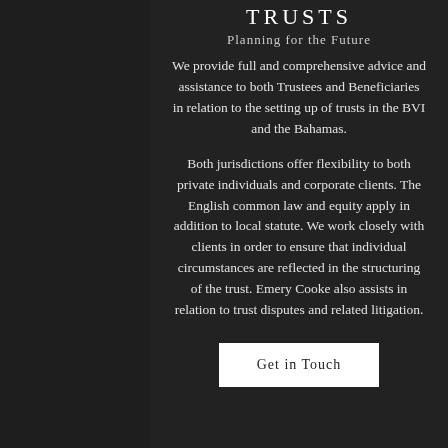TRUSTS
Planning for the Future
We provide full and comprehensive advice and assistance to both Trustees and Beneficiaries in relation to the setting up of trusts in the BVI and the Bahamas.
Both jurisdictions offer flexibility to both private individuals and corporate clients. The English common law and equity apply in addition to local statute. We work closely with clients in order to ensure that individual circumstances are reflected in the structuring of the trust. Emery Cooke also assists in relation to trust disputes and related litigation.
Get in Touch